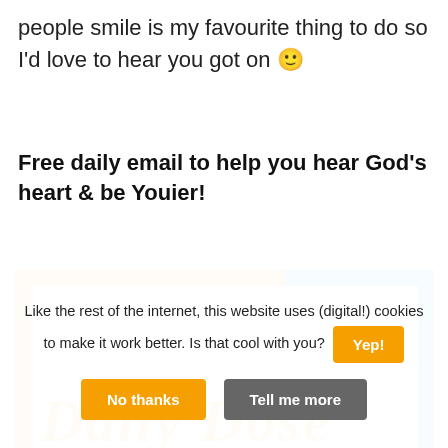people smile is my favourite thing to do so I'd love to hear you got on 🙂
Free daily email to help you hear God's heart & be Youier!
[Figure (illustration): A bordered box with orange left border and top-left section, cyan/blue right border and top-right section, with orange italic serif text reading 'Daily Dose' partially visible at the bottom]
Like the rest of the internet, this website uses (digital!) cookies to make it work better. Is that cool with you?
No thanks   Tell me more   Yep!